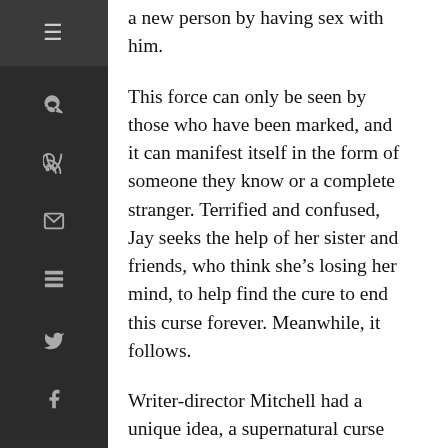a new person by having sex with him.
This force can only be seen by those who have been marked, and it can manifest itself in the form of someone they know or a complete stranger. Terrified and confused, Jay seeks the help of her sister and friends, who think she’s losing her mind, to help find the cure to end this curse forever. Meanwhile, it follows.
Writer-director Mitchell had a unique idea, a supernatural curse that can only be passed on through sex. Sex has always been a staple in the horror genre. If you have sex, you’re going to die. It’s a plain and simple truth in the genre. This curse was